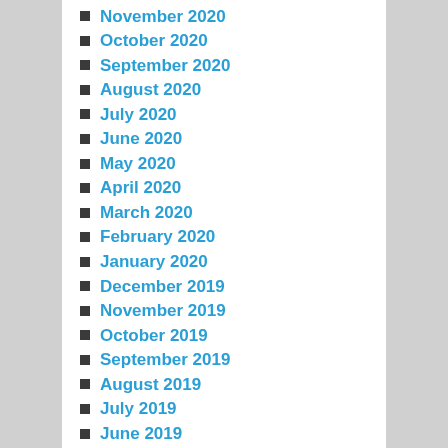November 2020
October 2020
September 2020
August 2020
July 2020
June 2020
May 2020
April 2020
March 2020
February 2020
January 2020
December 2019
November 2019
October 2019
September 2019
August 2019
July 2019
June 2019
May 2019
April 2019
March 2019
February 2019